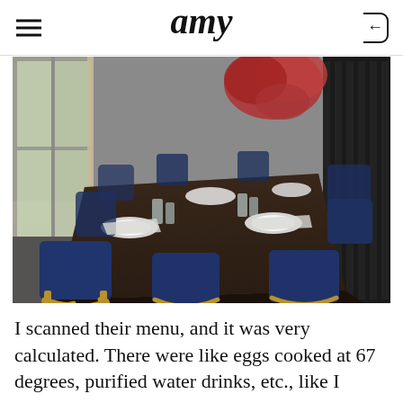amy
[Figure (photo): Interior of an upscale restaurant with a long dark wooden table surrounded by navy blue velvet chairs with gold metal legs. Large windows on the left let in natural light. Red floral arrangement in the background. Place settings with white plates and glass tumblers on the table. Dark wood paneling on the right wall.]
I scanned their menu, and it was very calculated. There were like eggs cooked at 67 degrees, purified water drinks, etc., like I